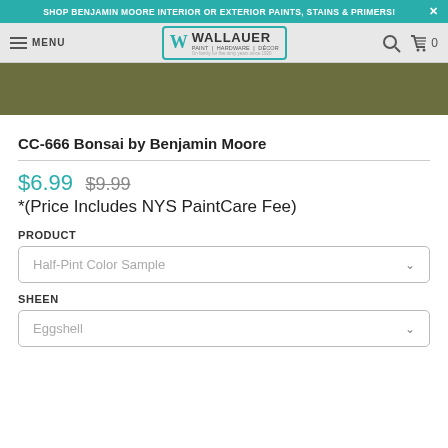SHOP BENJAMIN MOORE INTERIOR OR EXTERIOR PAINTS, STAINS & PRIMERS!
[Figure (screenshot): Wallauer Paint Hardware Décor navigation bar with menu, logo, search and cart icons]
[Figure (photo): Olive/dark green color swatch for CC-666 Bonsai paint color]
CC-666 Bonsai by Benjamin Moore
$6.99  $9.99
*(Price Includes NYS PaintCare Fee)
PRODUCT
Half-Pint Color Sample
SHEEN
Eggshell